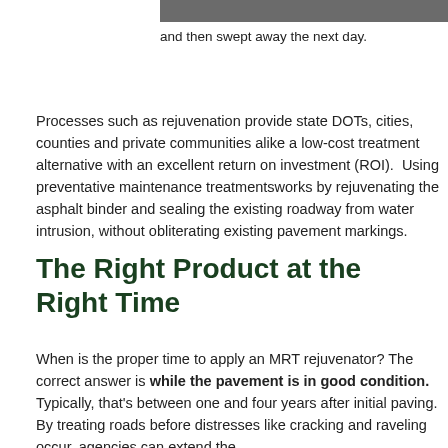[Figure (photo): Partial photograph visible at top of page, dark/gray tones, appears to be a road or pavement surface]
and then swept away the next day.
Processes such as rejuvenation provide state DOTs, cities, counties and private communities alike a low-cost treatment alternative with an excellent return on investment (ROI).  Using preventative maintenance treatmentsworks by rejuvenating the asphalt binder and sealing the existing roadway from water intrusion, without obliterating existing pavement markings.
The Right Product at the Right Time
When is the proper time to apply an MRT rejuvenator? The correct answer is while the pavement is in good condition. Typically, that's between one and four years after initial paving. By treating roads before distresses like cracking and raveling occur, agencies can extend the